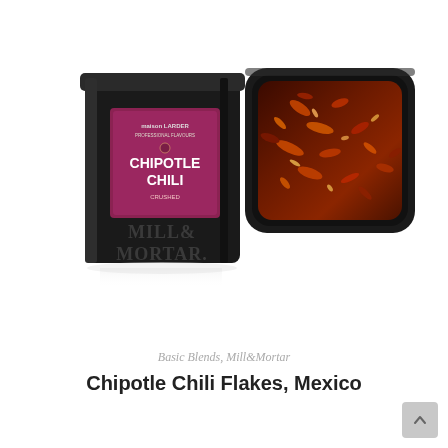[Figure (photo): Product photo showing a black Mill & Mortar spice tin labeled 'Chipotle Chili' with a burgundy/pink label, alongside an open tin lid displaying dark red-brown chipotle chili flakes. The tin features the Mill & Mortar brand name embossed in silver on the black metal. White background.]
Basic Blends, Mill&Mortar
Chipotle Chili Flakes, Mexico